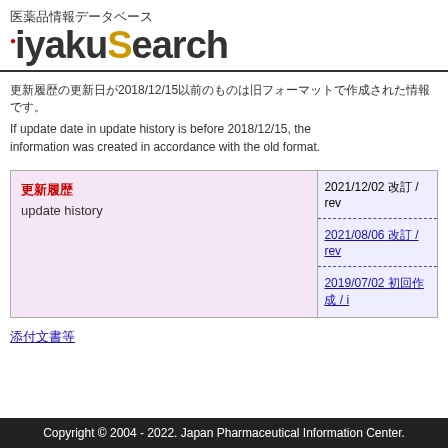医薬品情報データベース iyakuSearch
更新履歴の更新日が2018/12/15以前のものは旧フォーマットで作成された情報です。
If update date in update history is before 2018/12/15, the information was created in accordance with the old format.
| 更新履歴 / update history | Updates |
| --- | --- |
| 更新履歴
update history | 2021/12/02 改訂 / rev
2021/08/06 改訂 / rev
2019/07/02 初回作成 / i |
添付文書等
Copyright © 2004 - 2022. Japan Pharmaceutical Information Center.